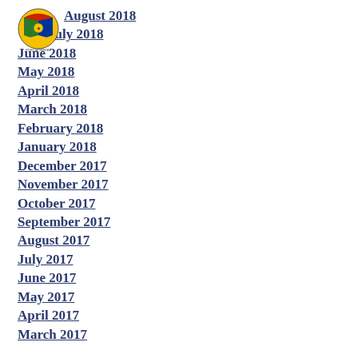[Figure (logo): Colorful municipal/government crest or coat of arms logo]
August 2018
July 2018
June 2018
May 2018
April 2018
March 2018
February 2018
January 2018
December 2017
November 2017
October 2017
September 2017
August 2017
July 2017
June 2017
May 2017
April 2017
March 2017